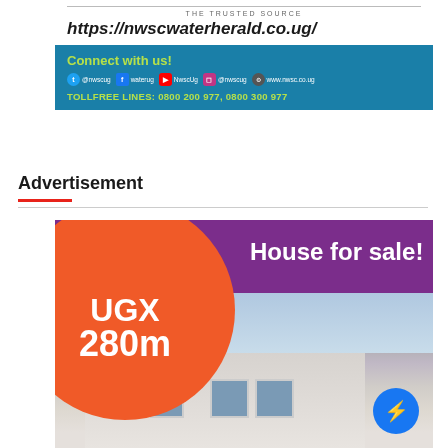[Figure (advertisement): NWSC Water Herald advertisement banner showing 'THE TRUSTED SOURCE', URL https://nwscwaterherald.co.ug/, Connect with us! with social media handles, and TOLLFREE LINES: 0800 200 977, 0800 300 977]
Advertisement
[Figure (advertisement): House for sale advertisement showing orange circle with 'UGX 280m', purple banner with 'House for sale!', photo of house below, and Messenger button]